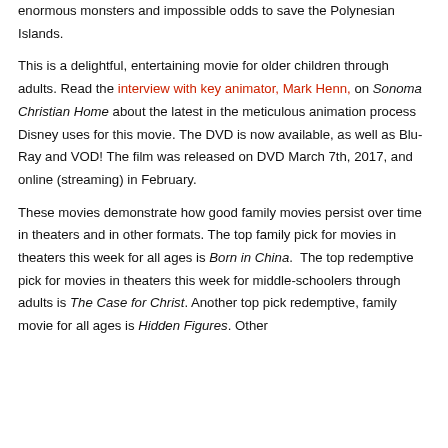enormous monsters and impossible odds to save the Polynesian Islands.
This is a delightful, entertaining movie for older children through adults. Read the interview with key animator, Mark Henn, on Sonoma Christian Home about the latest in the meticulous animation process Disney uses for this movie. The DVD is now available, as well as Blu-Ray and VOD! The film was released on DVD March 7th, 2017, and online (streaming) in February.
These movies demonstrate how good family movies persist over time in theaters and in other formats. The top family pick for movies in theaters this week for all ages is Born in China. The top redemptive pick for movies in theaters this week for middle-schoolers through adults is The Case for Christ. Another top pick redemptive, family movie for all ages is Hidden Figures. Other